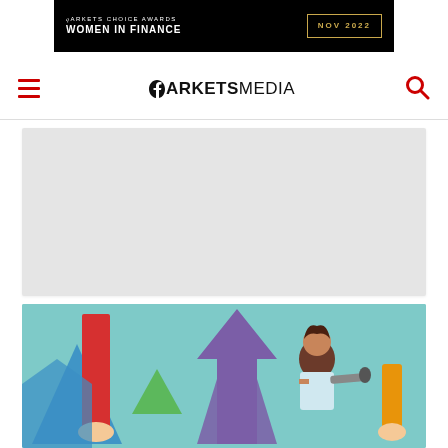[Figure (other): Markets Choice Awards Women in Finance NOV 2022 banner advertisement on black background with gold border box]
MARKETS MEDIA
[Figure (other): Gray placeholder content box / advertisement area]
[Figure (illustration): Colorful flat illustration showing business people holding bar charts and graphs, a person looking through a telescope, and hands holding objects, on a teal background]